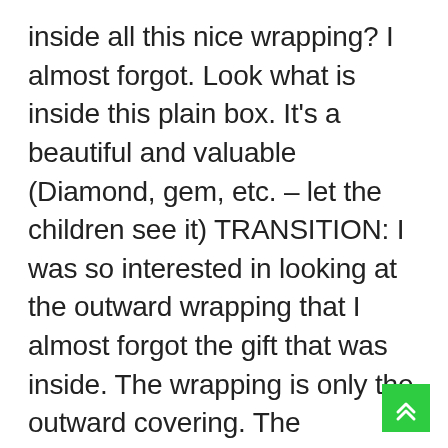inside all this nice wrapping? I almost forgot. Look what is inside this plain box. It's a beautiful and valuable (Diamond, gem, etc. – let the children see it) TRANSITION: I was so interested in looking at the outward wrapping that I almost forgot the gift that was inside. The wrapping is only the outward covering. The important thing is the gift inside.
This reminds me about the Christmas season. There are many wonderful things about Christmas. There are the